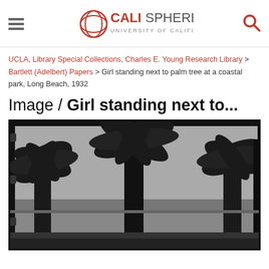CALISPHERE UNIVERSITY OF CALIFORNIA
UCLA, Library Special Collections, Charles E. Young Research Library > Bartlett (Adelbert) Papers > Girl standing next to palm tree at a coastal park, Long Beach, 1932
Image / Girl standing next to...
[Figure (photo): Black and white photograph of palm trees at a coastal park in Long Beach, 1932. Multiple tall palm trees are shown in silhouette against a light sky with the ocean visible in the background.]